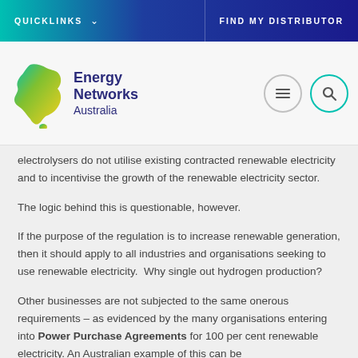QUICKLINKS   ∨   FIND MY DISTRIBUTOR
[Figure (logo): Energy Networks Australia logo with Australian map icon in teal/yellow/green gradient and purple text]
electrolysers do not utilise existing contracted renewable electricity and to incentivise the growth of the renewable electricity sector.
The logic behind this is questionable, however.
If the purpose of the regulation is to increase renewable generation, then it should apply to all industries and organisations seeking to use renewable electricity.  Why single out hydrogen production?
Other businesses are not subjected to the same onerous requirements – as evidenced by the many organisations entering into Power Purchase Agreements for 100 per cent renewable electricity. An Australian example of this can be